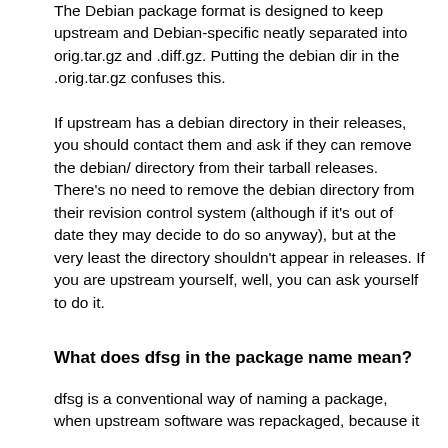The Debian package format is designed to keep upstream and Debian-specific neatly separated into orig.tar.gz and .diff.gz. Putting the debian dir in the .orig.tar.gz confuses this.
If upstream has a debian directory in their releases, you should contact them and ask if they can remove the debian/ directory from their tarball releases. There's no need to remove the debian directory from their revision control system (although if it's out of date they may decide to do so anyway), but at the very least the directory shouldn't appear in releases. If you are upstream yourself, well, you can ask yourself to do it.
What does dfsg in the package name mean?
dfsg is a conventional way of naming a package, when upstream software was repackaged, because it doesn't comply with the Debian Free...